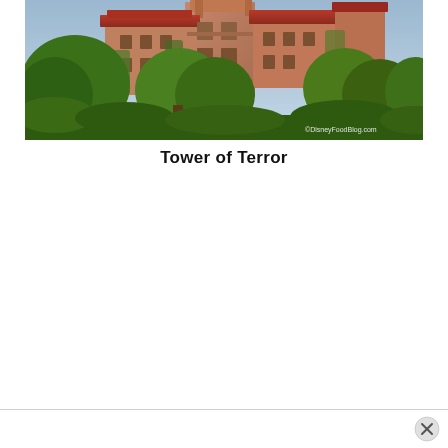[Figure (photo): Exterior photo of the Tower of Terror attraction at Disney's Hollywood Studios, showing a tall ornate building with red roof, overgrown with trees and vegetation, viewed from below at an angle. Watermark reads ©DisneyFoodBlog.com in the lower right corner.]
Tower of Terror